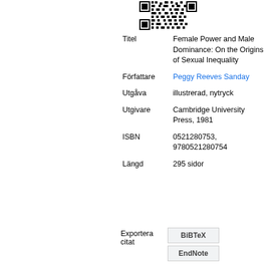[Figure (other): QR code image at top center-right]
| Titel | Female Power and Male Dominance: On the Origins of Sexual Inequality |
| Författare | Peggy Reeves Sanday |
| Utgåva | illustrerad, nytryck |
| Utgivare | Cambridge University Press, 1981 |
| ISBN | 0521280753, 9780521280754 |
| Längd | 295 sidor |
Exportera citat
BiBTeX
EndNote